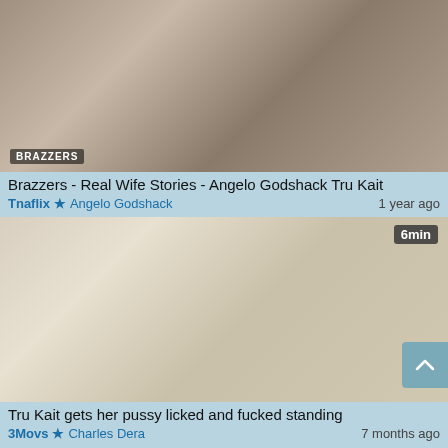[Figure (photo): Thumbnail image for adult video: Brazzers - Real Wife Stories - Angelo Godshack Tru Kait]
Brazzers - Real Wife Stories - Angelo Godshack Tru Kait
Tnaflix ★ Angelo Godshack   1 year ago
[Figure (photo): Thumbnail image for adult video: Tru Kait gets her pussy licked and fucked standing. Duration badge: 6min]
Tru Kait gets her pussy licked and fucked standing
3Movs ★ Charles Dera   7 months ago